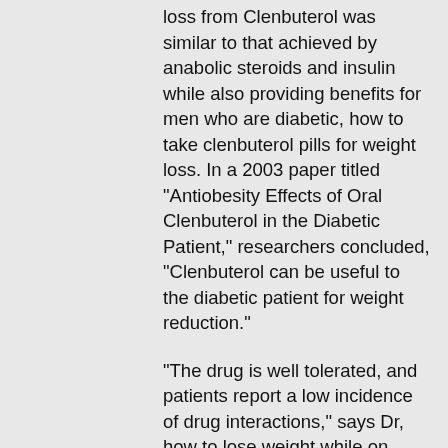loss from Clenbuterol was similar to that achieved by anabolic steroids and insulin while also providing benefits for men who are diabetic, how to take clenbuterol pills for weight loss. In a 2003 paper titled "Antiobesity Effects of Oral Clenbuterol in the Diabetic Patient," researchers concluded, "Clenbuterol can be useful to the diabetic patient for weight reduction."
"The drug is well tolerated, and patients report a low incidence of drug interactions," says Dr, how to lose weight while on prednisolone. Christopher C, how to lose weight while on prednisolone. E. Deutsch, M.D., Ph.D., a board certified inpatient psychiatrist at Boston Medical Center and the Director of the Center for Psychiatric Oncology at the Massachusetts General Hospital in Boston, Massachusetts.